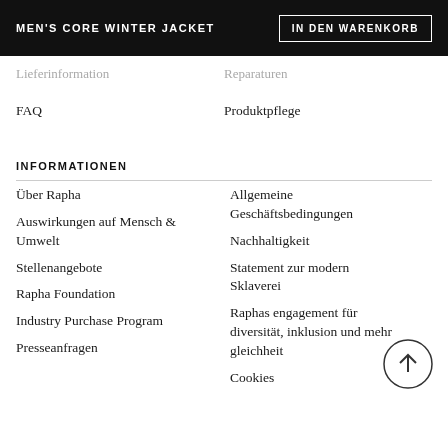MEN'S CORE WINTER JACKET | IN DEN WARENKORB
FAQ    Produktpflege
INFORMATIONEN
Über Rapha
Allgemeine Geschäftsbedingungen
Auswirkungen auf Mensch & Umwelt
Nachhaltigkeit
Stellenangebote
Statement zur modernen Sklaverei
Rapha Foundation
Raphas engagement für diversität, inklusion und mehr gleichheit
Industry Purchase Program
Presseanfragen
Cookies